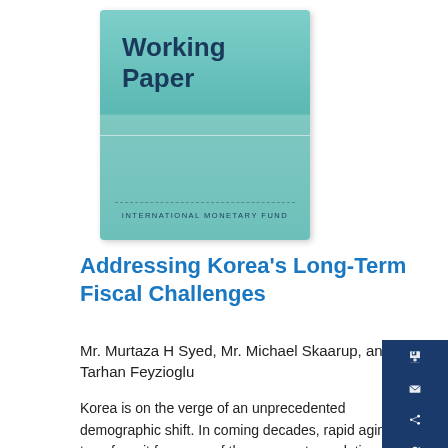[Figure (illustration): IMF Working Paper book cover with teal/green gradient background, 'Working Paper' title in dark blue bold text, and 'INTERNATIONAL MONETARY FUND' text at bottom with dashed separator line]
Addressing Korea's Long-Term Fiscal Challenges
Mr. Murtaza H Syed, Mr. Michael Skaarup, and Mr. Tarhan Feyzioglu
Korea is on the verge of an unprecedented demographic shift. In coming decades, rapid aging will transform it from one of the youngest populations in the OECD to among the oldest in record time. In turn, this shift will put tremendous pressure on the pension system and health and long-term care expenditures. This paper evaluates the impact of population aging on the long-term fiscal position in Korea, and